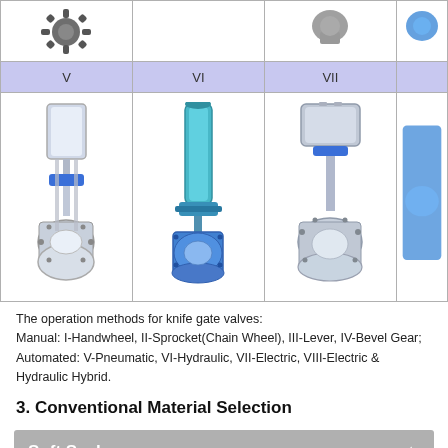[Figure (other): Table showing knife gate valve operation types V (Pneumatic), VI (Hydraulic), VII (Electric), and a partial VIII column. Top row shows actuator/operator head images; middle row shows Roman numeral labels on purple/lavender background; bottom row shows full valve product photos.]
The operation methods for knife gate valves:
Manual: I-Handwheel, II-Sprocket(Chain Wheel), III-Lever, IV-Bevel Gear;
Automated: V-Pneumatic, VI-Hydraulic, VII-Electric, VIII-Electric & Hydraulic Hybrid.
3. Conventional Material Selection
[Figure (other): Soft Seal collapsible panel header with white text on gray background and up-arrow toggle icon]